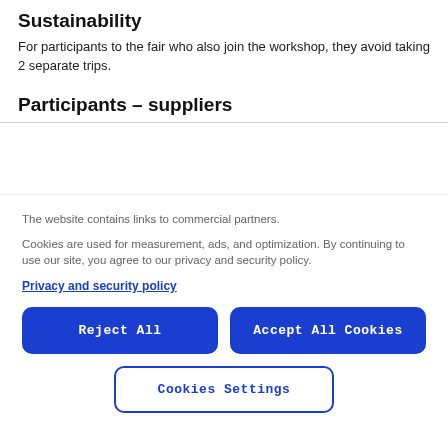Sustainability
For participants to the fair who also join the workshop, they avoid taking 2 separate trips.
Participants – suppliers
The website contains links to commercial partners.
Cookies are used for measurement, ads, and optimization. By continuing to use our site, you agree to our privacy and security policy.
Privacy and security policy
Reject All
Accept All Cookies
Cookies Settings